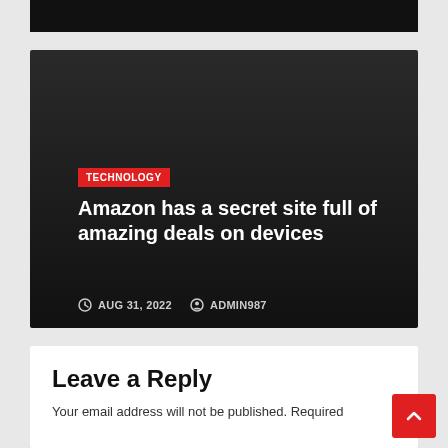[Figure (screenshot): Black top bar image (partial, cropped at top)]
Amazon has a secret site full of amazing deals on devices
TECHNOLOGY
AUG 31, 2022  ADMIN987
Leave a Reply
Your email address will not be published. Required